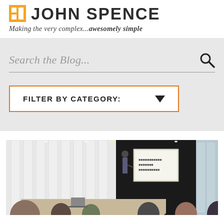JOHN SPENCE — Making the very complex...awesomely simple
Search the Blog...
FILTER BY CATEGORY:
[Figure (photo): A business meeting room scene with a presenter standing at a whiteboard/projector screen, and several attendees seated around a conference table in a modern office.]